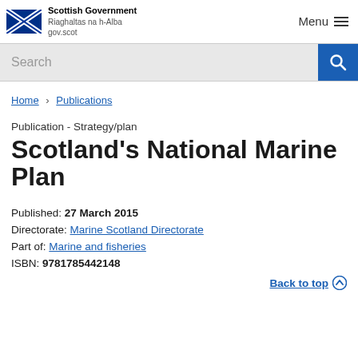[Figure (logo): Scottish Government logo with Saltire flag and text: Scottish Government, Riaghaltas na h-Alba, gov.scot]
Menu
[Figure (screenshot): Search bar with magnifying glass icon on blue background]
Home > Publications
Publication - Strategy/plan
Scotland's National Marine Plan
Published: 27 March 2015
Directorate: Marine Scotland Directorate
Part of: Marine and fisheries
ISBN: 9781785442148
Back to top